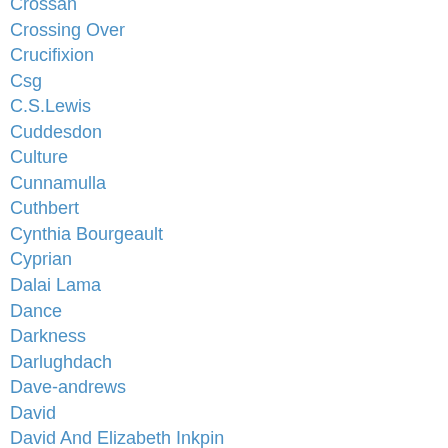Crossan
Crossing Over
Crucifixion
Csg
C.S.Lewis
Cuddesdon
Culture
Cunnamulla
Cuthbert
Cynthia Bourgeault
Cyprian
Dalai Lama
Dance
Darkness
Darlughdach
Dave-andrews
David
David And Elizabeth Inkpin
David Jenkins
David-mach
David Steindl Rast